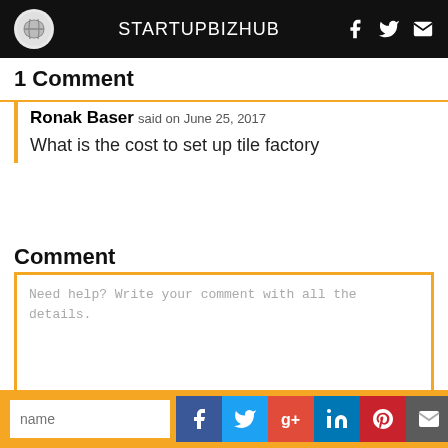STARTUPBIZHUB
1 Comment
Ronak Baser said on June 25, 2017
What is the cost to set up tile factory
Comment
Need help? Write your comment with all the details.